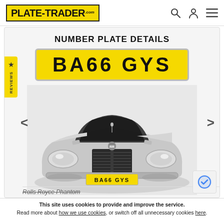[Figure (logo): Plate-Trader.com logo in yellow box, top left of navbar]
NUMBER PLATE DETAILS
[Figure (illustration): Yellow UK number plate displaying BA66 GYS in large black bold text]
[Figure (illustration): Front-on illustration of a Rolls Royce Phantom car with BA66 GYS number plate fitted on front]
Rolls Royce Phantom
This site uses cookies to provide and improve the service. Read more about how we use cookies, or switch off all unnecessary cookies here.